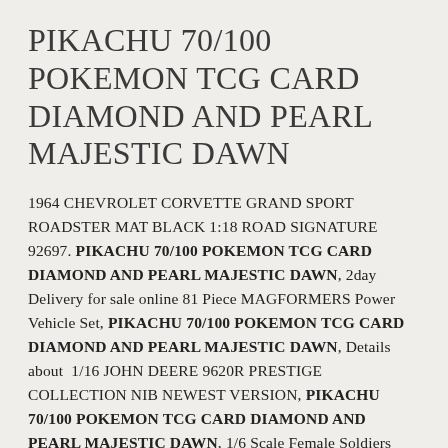PIKACHU 70/100 POKEMON TCG CARD DIAMOND AND PEARL MAJESTIC DAWN
1964 CHEVROLET CORVETTE GRAND SPORT ROADSTER MAT BLACK 1:18 ROAD SIGNATURE 92697. PIKACHU 70/100 POKEMON TCG CARD DIAMOND AND PEARL MAJESTIC DAWN, 2day Delivery for sale online 81 Piece MAGFORMERS Power Vehicle Set, PIKACHU 70/100 POKEMON TCG CARD DIAMOND AND PEARL MAJESTIC DAWN, Details about 1/16 JOHN DEERE 9620R PRESTIGE COLLECTION NIB NEWEST VERSION, PIKACHU 70/100 POKEMON TCG CARD DIAMOND AND PEARL MAJESTIC DAWN, 1/6 Scale Female Soldiers Accessories Russian Battle Angel Анна Combat Uniform. PIKACHU 70/100 POKEMON TCG CARD DIAMOND AND PEARL MAJESTIC DAWN, US SELL 10 SETS 6Pin 15cm Micro JST Molex Picoblade